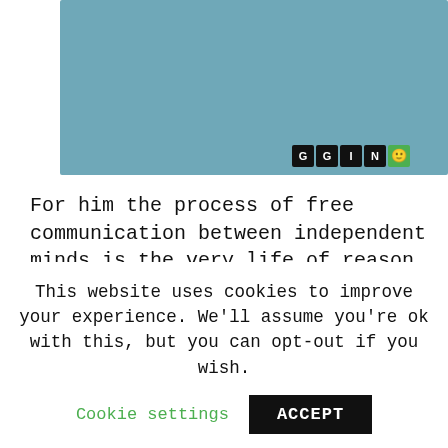[Figure (photo): A blurred teal/blue-green rectangular image area with social sharing icon buttons (G, G, I, N, and a green smiley) in the bottom-right corner.]
For him the process of free communication between independent minds is the very life of reason, the vocation of which is
This website uses cookies to improve your experience. We'll assume you're ok with this, but you can opt-out if you wish.
Cookie settings    ACCEPT